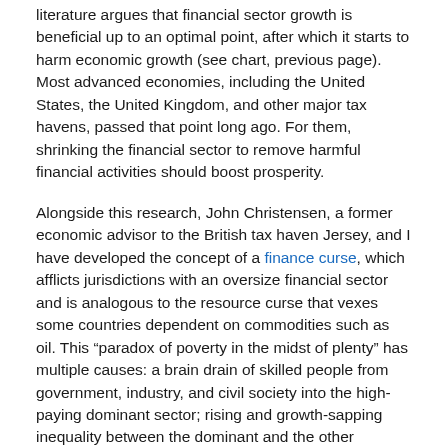literature argues that financial sector growth is beneficial up to an optimal point, after which it starts to harm economic growth (see chart, previous page). Most advanced economies, including the United States, the United Kingdom, and other major tax havens, passed that point long ago. For them, shrinking the financial sector to remove harmful financial activities should boost prosperity.
Alongside this research, John Christensen, a former economic advisor to the British tax haven Jersey, and I have developed the concept of a finance curse, which afflicts jurisdictions with an oversize financial sector and is analogous to the resource curse that vexes some countries dependent on commodities such as oil. This “paradox of poverty in the midst of plenty” has multiple causes: a brain drain of skilled people from government, industry, and civil society into the high-paying dominant sector; rising and growth-sapping inequality between the dominant and the other sectors; an